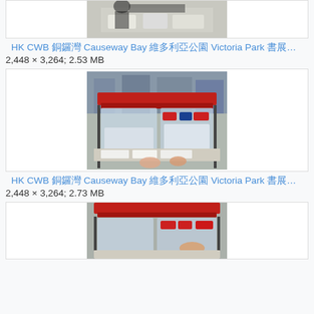[Figure (photo): Partial photo of a market stall with items displayed on a table, cropped at top]
HK CWB 銅鑼灣 Causeway Bay 維多利亞公園 Victoria Park 書展前夕 HKB…
2,448 × 3,264; 2.53 MB
[Figure (photo): Photo of a market stall booth with red canopy and display items, people browsing]
HK CWB 銅鑼灣 Causeway Bay 維多利亞公園 Victoria Park 書展前夕 HKB…
2,448 × 3,264; 2.73 MB
[Figure (photo): Partial photo of a similar market stall with red canopy, cropped at bottom]